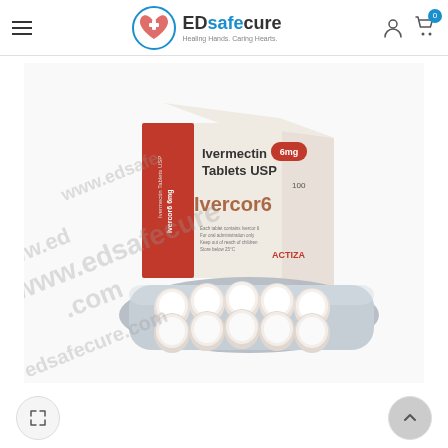EDsafecure - Healing Hands, Caring Hearts.
[Figure (photo): Product photo of Ivermectin Tablets USP 6mg (Ivercor6) box by ACTIZA pharmaceutical, with a blister pack of 10 white round tablets in front. Watermark reading www.edsafecure.com overlaid diagonally on the image.]
Expand image / Back to top navigation buttons